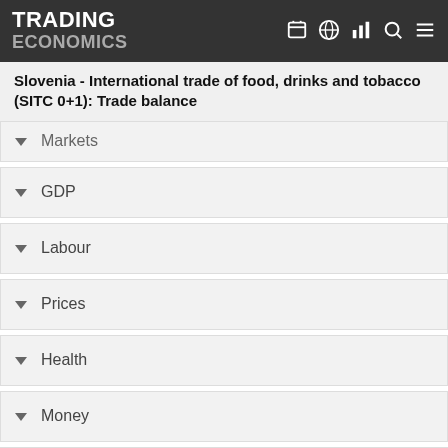TRADING ECONOMICS
Slovenia - International trade of food, drinks and tobacco (SITC 0+1): Trade balance
Markets
GDP
Labour
Prices
Health
Money
Trade
Government